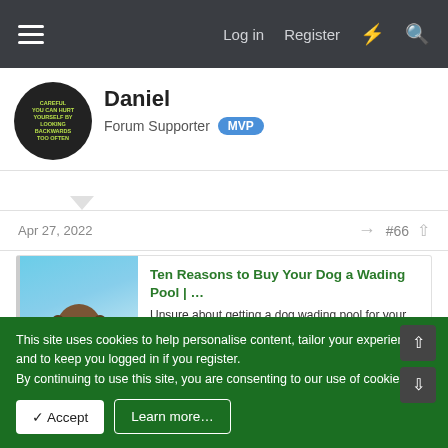Log in  Register
Daniel
Forum Supporter  MVP
Apr 27, 2022  #66
[Figure (screenshot): Link preview card: Ten Reasons to Buy Your Dog a Wading Pool | ... with dog photo, description, and dogs.lovetoknow.com domain]
Your panting pooch needs some relief from the summer heat
This site uses cookies to help personalise content, tailor your experience and to keep you logged in if you register.
By continuing to use this site, you are consenting to our use of cookies.